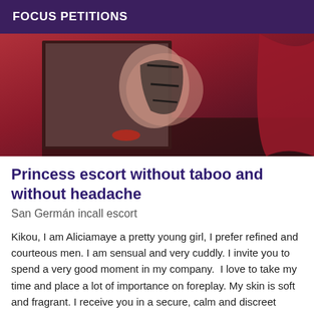FOCUS PETITIONS
[Figure (photo): Photo showing a person in black lingerie posed on a surface with red fabric in background]
Princess escort without taboo and without headache
San Germán incall escort
Kikou, I am Aliciamaye a pretty young girl, I prefer refined and courteous men. I am sensual and very cuddly. I invite you to spend a very good moment in my company.  I love to take my time and place a lot of importance on foreplay. My skin is soft and fragrant. I receive you in a secure, calm and discreet apartment. Hygiene is guaranteed and rigorous. While waiting to